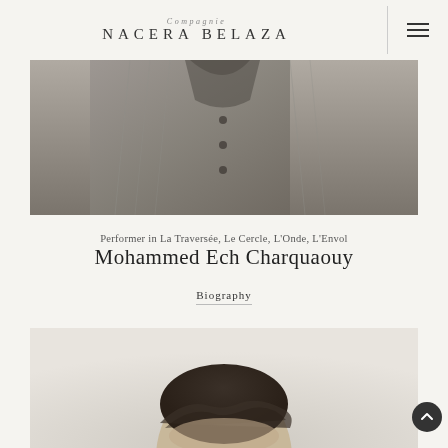Compagnie NACERA BELAZA
[Figure (photo): Black and white close-up photo of a person's torso wearing a textured jacket or shirt with a collar and buttons, cropped at chest level]
Performer in La Traversée, Le Cercle, L'Onde, L'Envol
Mohammed Ech Charquaouy
Biography
[Figure (photo): Black and white portrait photo of a person, showing the top of the head with dark hair, photo cut off at the frame bottom]